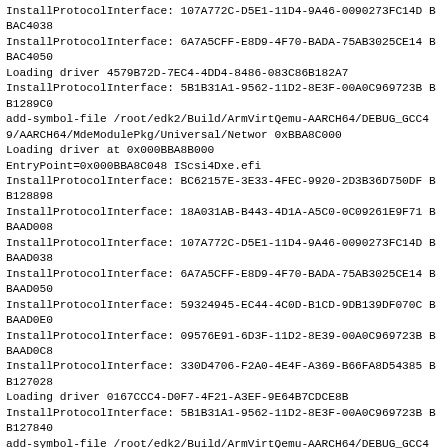InstallProtocolInterface: 107A772C-D5E1-11D4-9A46-0090273FC14D BBAC4038
InstallProtocolInterface: 6A7A5CFF-E8D9-4F70-BADA-75AB3025CE14 BBAC4050
Loading driver 4579B72D-7EC4-4DD4-8486-083C86B182A7
InstallProtocolInterface: 5B1B31A1-9562-11D2-8E3F-00A0C969723B BB1289C0
add-symbol-file /root/edk2/Build/ArmVirtQemu-AARCH64/DEBUG_GCC49/AARCH64/MdeModulePkg/Universal/Networ 0xBBA8C000
Loading driver at 0x000BBA8B000
EntryPoint=0x000BBA8C048 IScsi4Dxe.efi
InstallProtocolInterface: BC62157E-3E33-4FEC-9920-2D3B36D750DF BB128898
InstallProtocolInterface: 18A031AB-B443-4D1A-A5C0-0C09261E9F71 BBAAD008
InstallProtocolInterface: 107A772C-D5E1-11D4-9A46-0090273FC14D BBAAD038
InstallProtocolInterface: 6A7A5CFF-E8D9-4F70-BADA-75AB3025CE14 BBAAD050
InstallProtocolInterface: 59324945-EC44-4C0D-B1CD-9DB139DF070C BBAAD0E0
InstallProtocolInterface: 09576E91-6D3F-11D2-8E39-00A0C969723B BBAAD0C8
InstallProtocolInterface: 330D4706-F2A0-4E4F-A369-B66FA8D54385 BB127028
Loading driver 0167CCC4-D0F7-4F21-A3EF-9E64B7CDCE8B
InstallProtocolInterface: 5B1B31A1-9562-11D2-8E3F-00A0C969723B BB127840
add-symbol-file /root/edk2/Build/ArmVirtQemu-AARCH64/DEBUG_GCC49/AARCH64/MdeModulePkg/Bus/Scsi/ScsiRu